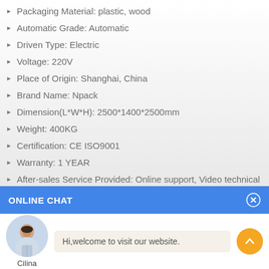Packaging Material: plastic, wood
Automatic Grade: Automatic
Driven Type: Electric
Voltage: 220V
Place of Origin: Shanghai, China
Brand Name: Npack
Dimension(L*W*H): 2500*1400*2500mm
Weight: 400KG
Certification: CE ISO9001
Warranty: 1 YEAR
After-sales Service Provided: Online support, Video technical su...
Key Selling Points: High-accuracy
ONLINE CHAT
[Figure (photo): Avatar photo of a woman named Cilina]
Hi,welcome to visit our website.
Cilina